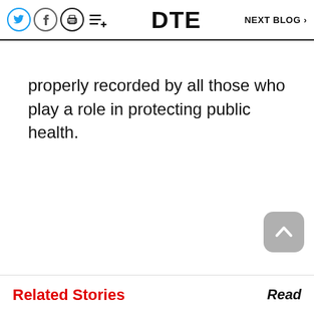DTE | NEXT BLOG >
properly recorded by all those who play a role in protecting public health.
Related Stories
Read